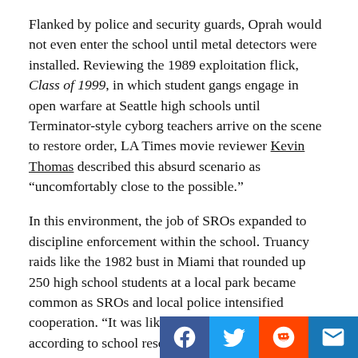Flanked by police and security guards, Oprah would not even enter the school until metal detectors were installed. Reviewing the 1989 exploitation flick, Class of 1999, in which student gangs engage in open warfare at Seattle high schools until Terminator-style cyborg teachers arrive on the scene to restore order, LA Times movie reviewer Kevin Thomas described this absurd scenario as “uncomfortably close to the possible.”
In this environment, the job of SROs expanded to discipline enforcement within the school. Truancy raids like the 1982 bust in Miami that rounded up 250 high school students at a local park became common as SROs and local police intensified cooperation. “It was like bringing cattle in,” according to school resource officer Barney Silver, “We pretty much rounded them up.” (Miami Herald, 10/22/1982)
Talking to the LA Times in 1992, Paul Walters, police chief for Santa Ana, CA, outlined the [cont.]